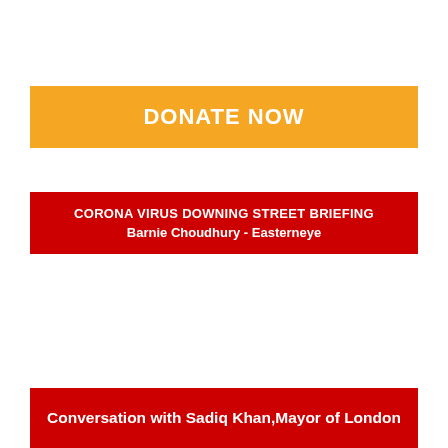DONATE NOW
CORONA VIRUS DOWNING STREET BRIEFING
Barnie Choudhury - Easterneye
Conversation with Sadiq Khan, Mayor of London